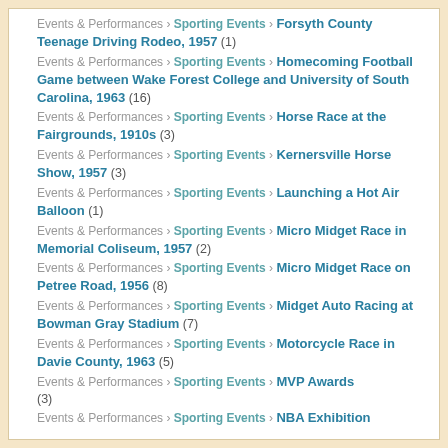Events & Performances › Sporting Events › Forsyth County Teenage Driving Rodeo, 1957 (1)
Events & Performances › Sporting Events › Homecoming Football Game between Wake Forest College and University of South Carolina, 1963 (16)
Events & Performances › Sporting Events › Horse Race at the Fairgrounds, 1910s (3)
Events & Performances › Sporting Events › Kernersville Horse Show, 1957 (3)
Events & Performances › Sporting Events › Launching a Hot Air Balloon (1)
Events & Performances › Sporting Events › Micro Midget Race in Memorial Coliseum, 1957 (2)
Events & Performances › Sporting Events › Micro Midget Race on Petree Road, 1956 (8)
Events & Performances › Sporting Events › Midget Auto Racing at Bowman Gray Stadium (7)
Events & Performances › Sporting Events › Motorcycle Race in Davie County, 1963 (5)
Events & Performances › Sporting Events › MVP Awards (3)
Events & Performances › Sporting Events › NBA Exhibition